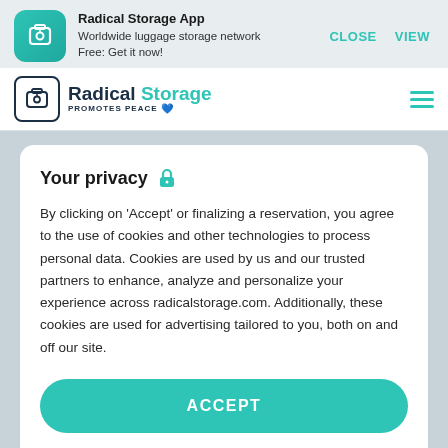[Figure (logo): Radical Storage App banner with teal icon showing luggage]
Radical Storage App
Worldwide luggage storage network
Free: Get it now!
CLOSE    VIEW
[Figure (logo): Radical Storage logo with luggage icon, PROMOTES PEACE text and Ukrainian flag heart, teal hamburger menu icon]
Your privacy 🔒
By clicking on 'Accept' or finalizing a reservation, you agree to the use of cookies and other technologies to process personal data. Cookies are used by us and our trusted partners to enhance, analyze and personalize your experience across radicalstorage.com. Additionally, these cookies are used for advertising tailored to you, both on and off our site.
ACCEPT
Manage settings
geolocation on your device and find out the nearest left luggage! We